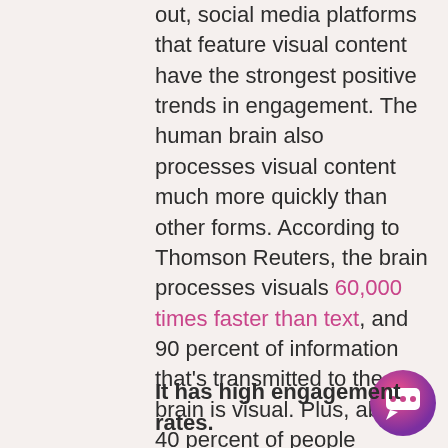out, social media platforms that feature visual content have the strongest positive trends in engagement. The human brain also processes visual content much more quickly than other forms. According to Thomson Reuters, the brain processes visuals 60,000 times faster than text, and 90 percent of information that's transmitted to the brain is visual. Plus, about 40 percent of people respond better to imagery.
[Figure (illustration): Chat bubble icon — circular gradient button with pink-to-purple gradient background and white speech/chat icon in center]
It has high engagement rates.